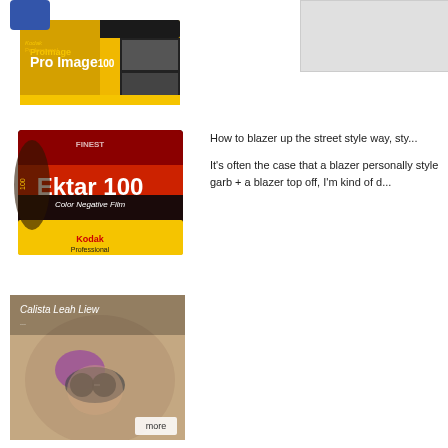[Figure (photo): Kodak Professional Pro Image 100 film box, yellow and black packaging with portrait photos on the side]
[Figure (photo): Kodak Professional Ektar 100 Color Negative Film box, dark red/black and yellow packaging]
[Figure (photo): Gray rectangle placeholder box in upper right corner]
How to blazer up the street style way, sty...
It's often the case that a blazer personally style garb + a blazer top off, I'm kind of d...
[Figure (photo): Photo of Calista Leah Liew - woman with purple sunglasses lying down, with 'more' button overlay]